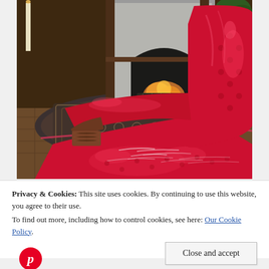[Figure (photo): A large red tufted leather armchair with ornate wooden arms in the foreground, with a stone fireplace with glowing fire in the background, a decorative patterned rug on a parquet wood floor, candles, and greenery/decorations visible.]
Privacy & Cookies: This site uses cookies. By continuing to use this website, you agree to their use.
To find out more, including how to control cookies, see here: Our Cookie Policy
Close and accept